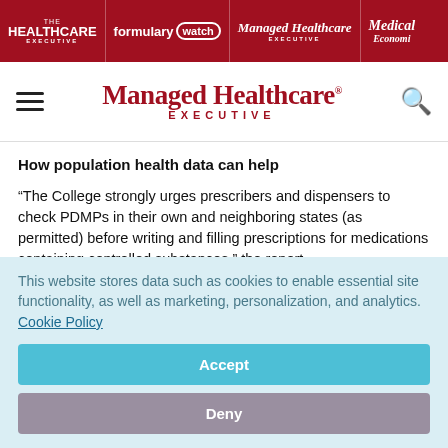HEALTHCARE EXECUTIVE | formulary watch | Managed Healthcare EXECUTIVE | Medical Economics
[Figure (logo): Managed Healthcare Executive logo with navigation hamburger menu and search icon]
How population health data can help
“The College strongly urges prescribers and dispensers to check PDMPs in their own and neighboring states (as permitted) before writing and filling prescriptions for medications containing controlled substances,” the report
This website stores data such as cookies to enable essential site functionality, as well as marketing, personalization, and analytics. Cookie Policy
Accept
Deny